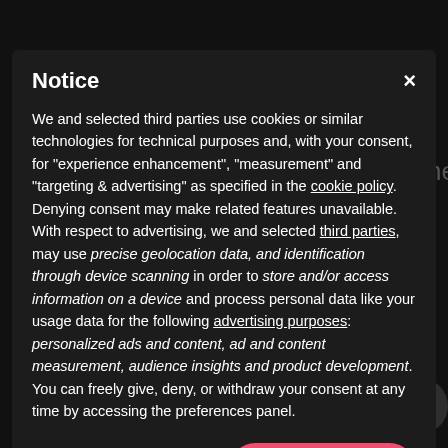Notice
We and selected third parties use cookies or similar technologies for technical purposes and, with your consent, for "experience enhancement", "measurement" and "targeting & advertising" as specified in the cookie policy. Denying consent may make related features unavailable.
With respect to advertising, we and selected third parties, may use precise geolocation data, and identification through device scanning in order to store and/or access information on a device and process personal data like your usage data for the following advertising purposes: personalized ads and content, ad and content measurement, audience insights and product development.
You can freely give, deny, or withdraw your consent at any time by accessing the preferences panel.
Reject
Accept
Learn more and customize